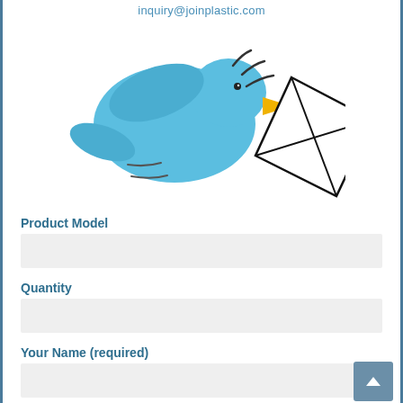inquiry@joinplastic.com
[Figure (illustration): A blue cartoon bird carrying a white envelope/letter in its beak, flying to the right. The bird has a yellow beak. The envelope is drawn with black lines in a diamond/kite shape. Motion lines appear near the bird's wing tips and tail.]
Product Model
Quantity
Your Name (required)
Your Email (required)